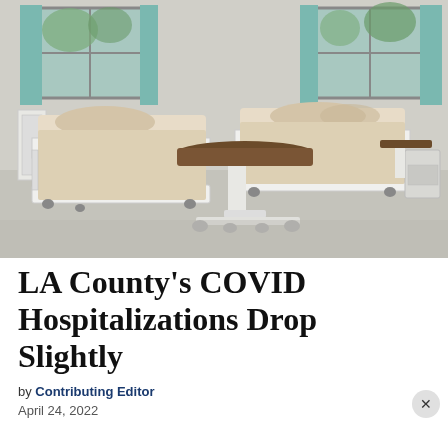[Figure (photo): Hospital room with two beds with beige/tan linens and beige pillows, teal/green curtains on windows, white hospital bed frames with wheels, a brown over-bed table on a white adjustable stand in the foreground, light grey flooring and light grey walls.]
LA County's COVID Hospitalizations Drop Slightly
by Contributing Editor
April 24, 2022